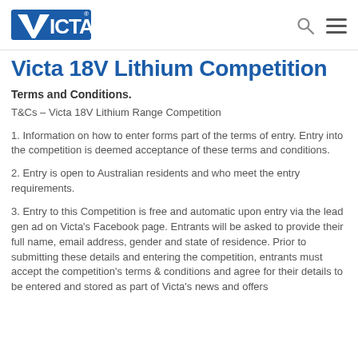Victa logo, search icon, menu icon
Victa 18V Lithium Competition
Terms and Conditions.
T&Cs – Victa 18V Lithium Range Competition
1. Information on how to enter forms part of the terms of entry. Entry into the competition is deemed acceptance of these terms and conditions.
2. Entry is open to Australian residents and who meet the entry requirements.
3. Entry to this Competition is free and automatic upon entry via the lead gen ad on Victa's Facebook page. Entrants will be asked to provide their full name, email address, gender and state of residence. Prior to submitting these details and entering the competition, entrants must accept the competition's terms & conditions and agree for their details to be entered and stored as part of Victa's news and offers